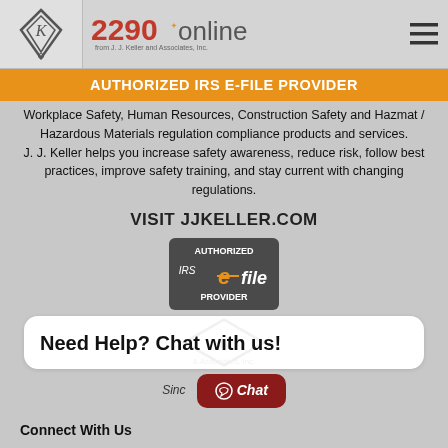[Figure (logo): J.J. Keller diamond logo on left and 2290online from J.J. Keller and Associates, Inc. logo in center, hamburger menu icon on right]
AUTHORIZED IRS E-FILE PROVIDER
Workplace Safety, Human Resources, Construction Safety and Hazmat / Hazardous Materials regulation compliance products and services. J. J. Keller helps you increase safety awareness, reduce risk, follow best practices, improve safety training, and stay current with changing regulations.
VISIT JJKELLER.COM
[Figure (logo): Authorized IRS e-file Provider badge with red background]
Need Help? Chat with us!
Since
Chat
Connect With Us